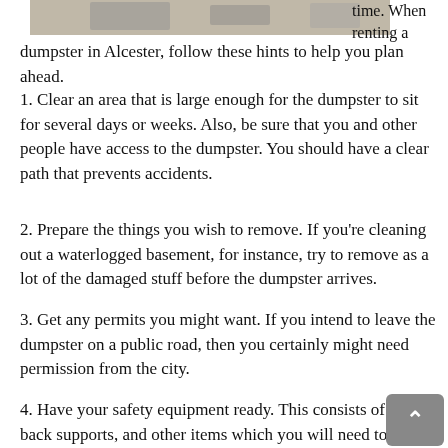[Figure (photo): Partial view of a dumpster or debris scene at the top of the page]
time. When renting a dumpster in Alcester, follow these hints to help you plan ahead.
1. Clear an area that is large enough for the dumpster to sit for several days or weeks. Also, be sure that you and other people have access to the dumpster. You should have a clear path that prevents accidents.
2. Prepare the things you wish to remove. If you're cleaning out a waterlogged basement, for instance, try to remove as a lot of the damaged stuff before the dumpster arrives.
3. Get any permits you might want. If you intend to leave the dumpster on a public road, then you certainly might need permission from the city.
4. Have your safety equipment ready. This consists of gloves, back supports, and other items which you will need to dispose of your debris when the dumpster arrives.